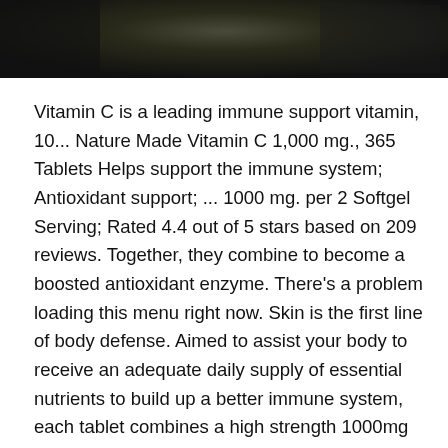[Figure (photo): Dark background image at the top of the page, partially visible, showing what appears to be a product or nature scene in dark tones.]
Vitamin C is a leading immune support vitamin, 10... Nature Made Vitamin C 1,000 mg., 365 Tablets Helps support the immune system; Antioxidant support; ... 1000 mg. per 2 Softgel Serving; Rated 4.4 out of 5 stars based on 209 reviews. Together, they combine to become a boosted antioxidant enzyme. There's a problem loading this menu right now. Skin is the first line of body defense. Aimed to assist your body to receive an adequate daily supply of essential nutrients to build up a better immune system, each tablet combines a high strength 1000mg dose of Vitamin C, and 10mg of Zinc to toughen up the body's defence mechanism. Protective